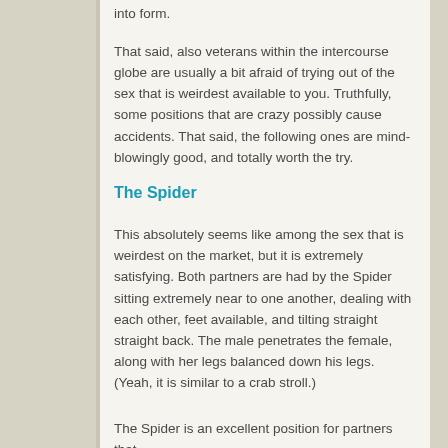into form.
That said, also veterans within the intercourse globe are usually a bit afraid of trying out of the sex that is weirdest available to you. Truthfully, some positions that are crazy possibly cause accidents. That said, the following ones are mind-blowingly good, and totally worth the try.
The Spider
This absolutely seems like among the sex that is weirdest on the market, but it is extremely satisfying. Both partners are had by the Spider sitting extremely near to one another, dealing with each other, feet available, and tilting straight straight back. The male penetrates the female, along with her legs balanced down his legs. (Yeah, it is similar to a crab stroll.)
The Spider is an excellent position for partners that